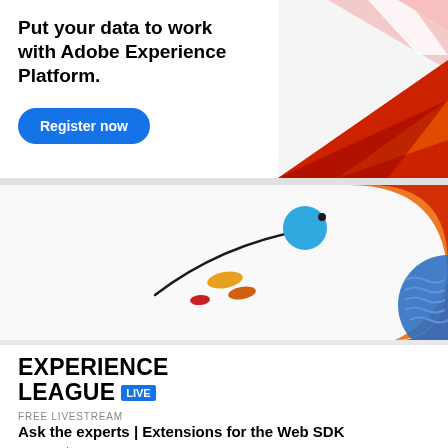Put your data to work with Adobe Experience Platform.
Register now
[Figure (illustration): Decorative geometric illustration with triangles in red, pink, and white in the top-right corner of the banner]
[Figure (illustration): Abstract illustration showing a curved line with a blue circle and orange/yellow dots on the left, and layered colorful semicircular shapes in orange, red, and blue with wave patterns on the right]
EXPERIENCE LEAGUE LIVE
FREE LIVESTREAM
Ask the experts | Extensions for the Web SDK
Aug 23rd, 2022 | 9am PST
Are you thinking about migrating your implementation to the new Adobe Web SDK? Join Adobe experts to learn